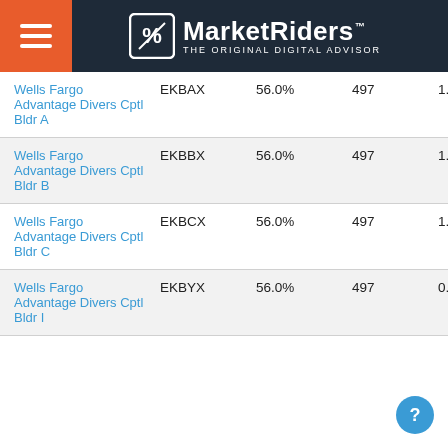MarketRiders - THE ORIGINAL DIGITAL ADVISOR
| Fund Name | Ticker | Stock % | Holdings | Expense Ratio |
| --- | --- | --- | --- | --- |
| Wells Fargo Advantage Divers Cptl Bldr A | EKBAX | 56.0% | 497 | 1.20% |
| Wells Fargo Advantage Divers Cptl Bldr B | EKBBX | 56.0% | 497 | 1.95% |
| Wells Fargo Advantage Divers Cptl Bldr C | EKBCX | 56.0% | 497 | 1.95% |
| Wells Fargo Advantage Divers Cptl Bldr I | EKBYX | 56.0% | 497 | 0.78% |